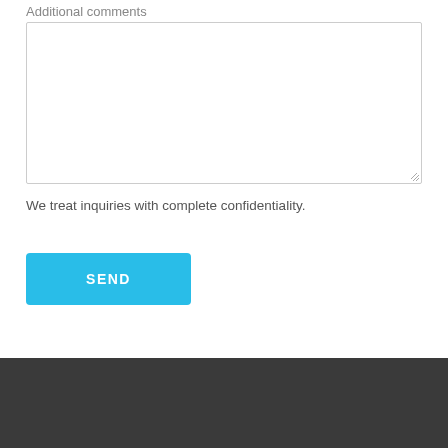Additional comments
[Figure (other): Empty textarea input box for additional comments]
We treat inquiries with complete confidentiality.
[Figure (other): Blue SEND button]
DYNAMIC ADVISOR SOLUTIONS